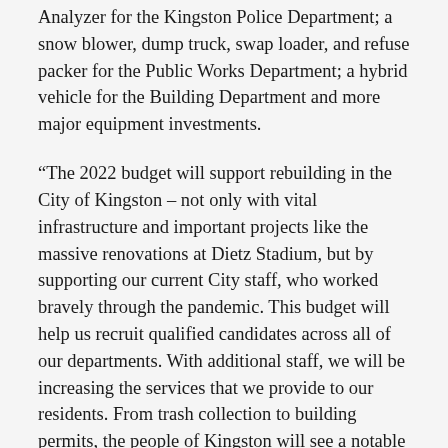Analyzer for the Kingston Police Department; a snow blower, dump truck, swap loader, and refuse packer for the Public Works Department; a hybrid vehicle for the Building Department and more major equipment investments.
“The 2022 budget will support rebuilding in the City of Kingston – not only with vital infrastructure and important projects like the massive renovations at Dietz Stadium, but by supporting our current City staff, who worked bravely through the pandemic. This budget will help us recruit qualified candidates across all of our departments. With additional staff, we will be increasing the services that we provide to our residents. From trash collection to building permits, the people of Kingston will see a notable increase in essential services,” said Mayor Noble. “I want to thank our Comptroller John Tuey for his expert guidance during this lengthy process, and to the Common Council for their diligence in reviewing the budget and thoughtful process of protecting taxpayer dollars.”
To view Mayor Noble’s 2022 Proposed Budget and presentation, visit https://kingston-ny.gov/budget2022